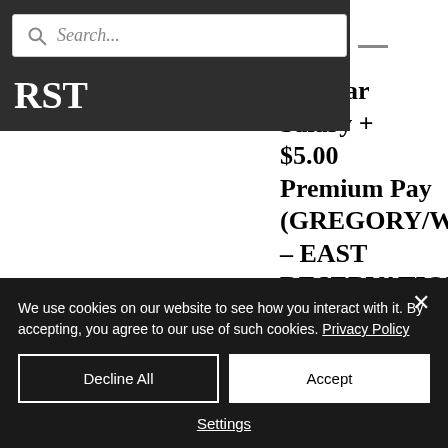RST
Search...
Regular Salary + $5.00 Premium Pay (GREGORY/WINNER – EAST RESERVATION AREA) SWA HAS IMMEDIATE OPENINGS POSTING
We use cookies on our website to see how you interact with it. By accepting, you agree to our use of such cookies. Privacy Policy
Decline All
Accept
Settings